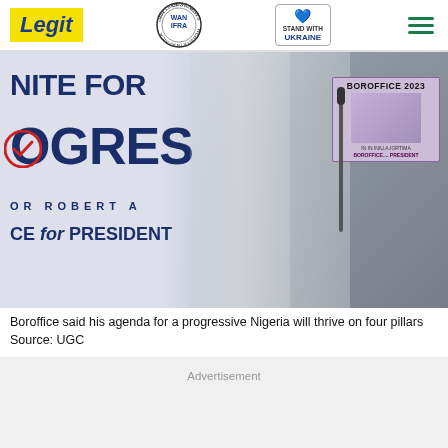Legit | WAN-IFRA 2021 Best News Website in Africa | Stand with Ukraine
[Figure (photo): A man in white traditional attire speaking into a microphone at a podium. Behind him is a campaign banner reading 'UNITE FOR PROGRESS / OR ROBERT A / CE for PRESIDENT'. A 'BOROFFICE 2023' campaign sign is visible on the right side.]
Boroffice said his agenda for a progressive Nigeria will thrive on four pillars
Source: UGC
Advertisement